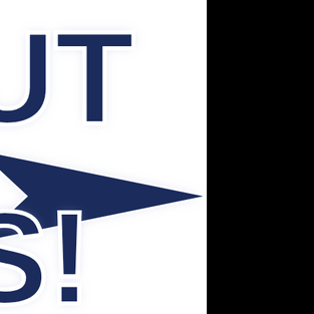[Figure (logo): Partial view of a logo featuring large dark navy blue block letters 'UT' at top, a navy blue star/arrow shape in the middle, and 'S!' at bottom, all with white outlines and soft glow effect on white background. Right third of page is black.]